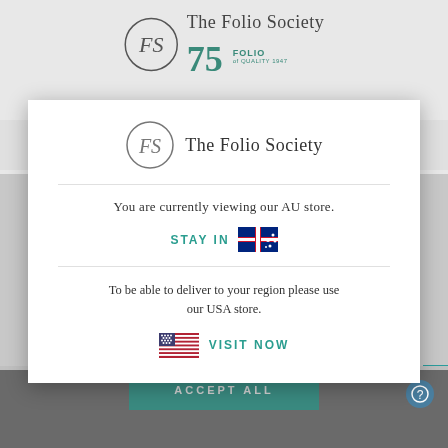[Figure (screenshot): Background of The Folio Society website with 75th anniversary logo, navigation bar with hamburger menu, Australian flag, search icon, and bag icon. A teal colored button appears on the right edge.]
[Figure (logo): The Folio Society logo with circular FS monogram and text 'The Folio Society' inside a modal dialog]
You are currently viewing our AU store.
STAY IN
To be able to deliver to your region please use our USA store.
VISIT NOW
ACCEPT ALL